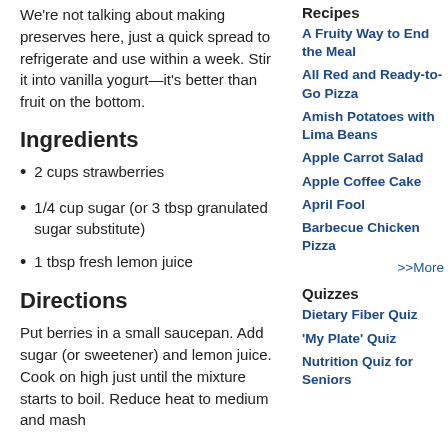We're not talking about making preserves here, just a quick spread to refrigerate and use within a week. Stir it into vanilla yogurt—it's better than fruit on the bottom.
Ingredients
2 cups strawberries
1/4 cup sugar (or 3 tbsp granulated sugar substitute)
1 tbsp fresh lemon juice
Directions
Put berries in a small saucepan. Add sugar (or sweetener) and lemon juice. Cook on high just until the mixture starts to boil. Reduce heat to medium and mash
Recipes
A Fruity Way to End the Meal
All Red and Ready-to-Go Pizza
Amish Potatoes with Lima Beans
Apple Carrot Salad
Apple Coffee Cake
April Fool
Barbecue Chicken Pizza
>>More
Quizzes
Dietary Fiber Quiz
'My Plate' Quiz
Nutrition Quiz for Seniors